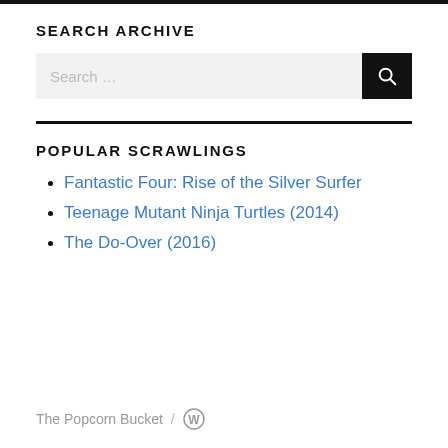SEARCH ARCHIVE
[Figure (other): Search input box with a search button on the right showing a magnifying glass icon]
POPULAR SCRAWLINGS
Fantastic Four: Rise of the Silver Surfer
Teenage Mutant Ninja Turtles (2014)
The Do-Over (2016)
The Popcorn Bucket / ⓦ